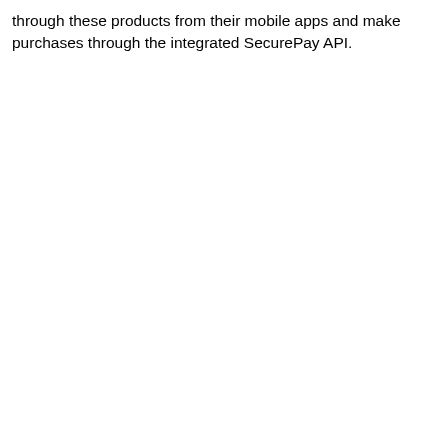through these products from their mobile apps and make purchases through the integrated SecurePay API.